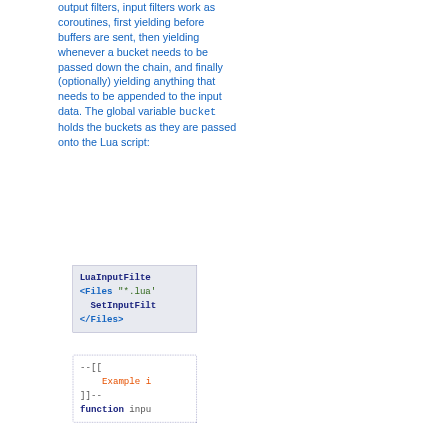output filters, input filters work as coroutines, first yielding before buffers are sent, then yielding whenever a bucket needs to be passed down the chain, and finally (optionally) yielding anything that needs to be appended to the input data. The global variable bucket holds the buckets as they are passed onto the Lua script:
[Figure (screenshot): Code block with solid border showing LuaInputFilter configuration: LuaInputFilter, <Files "*.lua">, SetInputFilt..., </Files>]
[Figure (screenshot): Code block with dotted border showing Lua script example: --[[ Example i... ]]-- function inpu...]